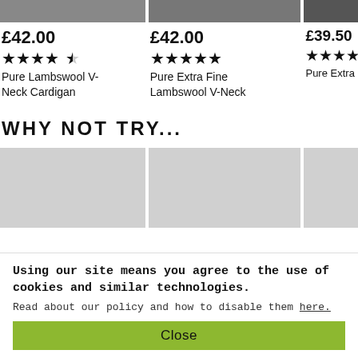[Figure (photo): Three product image thumbnails partially visible at top of page, cropped]
£42.00
[Figure (other): 4.5 star rating icons]
Pure Lambswool V-Neck Cardigan
£42.00
[Figure (other): 5 star rating icons]
Pure Extra Fine Lambswool V-Neck
£39.50
[Figure (other): 4.5 star rating icons, partially cut off]
Pure Extra Fine Lambswool V-
WHY NOT TRY...
[Figure (photo): Three placeholder light grey image blocks for 'Why Not Try' product suggestions]
Using our site means you agree to the use of cookies and similar technologies. Read about our policy and how to disable them here.
Close